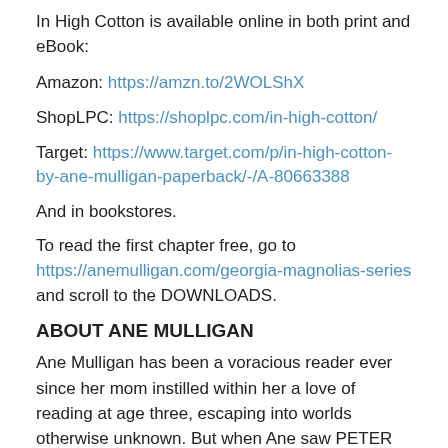In High Cotton is available online in both print and eBook:
Amazon: https://amzn.to/2WOLShX
ShopLPC: https://shoplpc.com/in-high-cotton/
Target: https://www.target.com/p/in-high-cotton-by-ane-mulligan-paperback/-/A-80663388
And in bookstores.
To read the first chapter free, go to https://anemulligan.com/georgia-magnolias-series and scroll to the DOWNLOADS.
ABOUT ANE MULLIGAN
Ane Mulligan has been a voracious reader ever since her mom instilled within her a love of reading at age three, escaping into worlds otherwise unknown. But when Ane saw PETER PAN on stage, she was struck with a fever from which she never recovered—stage fever. She submerged herself in drama through high